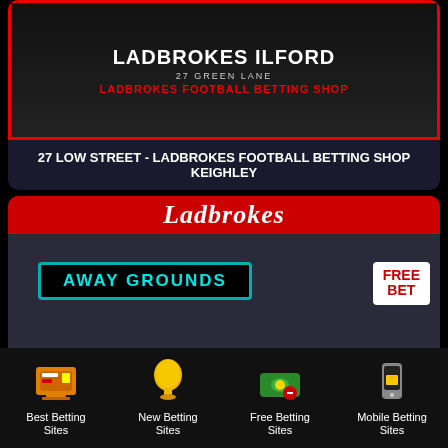[Figure (photo): Ladbrokes Ilford storefront sign showing shop name, address 27 Green Lane, and Ladbrokes Football Betting Shop label]
27 LOW STREET - LADBROKES FOOTBALL BETTING SHOP KEIGHLEY
[Figure (photo): Ladbrokes Hebden Bridge storefront with red Ladbrokes banner, Away Grounds sign, Free Bet poster, and inner sign showing shop name, address 3 Bridge Gate, and Ladbrokes Football Betting Shop label]
Best Betting Sites
New Betting Sites
Free Betting Sites
Mobile Betting Sites